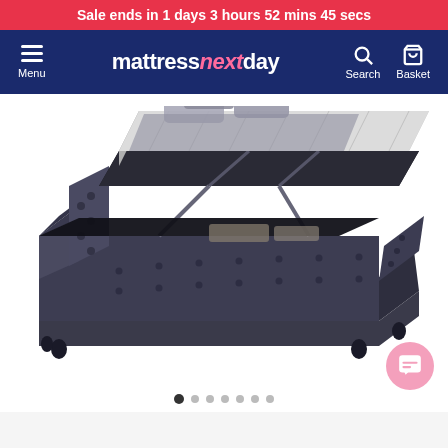Sale ends in 1 days 3 hours 52 mins 45 secs
mattressnextday — Menu, Search, Basket
[Figure (photo): A grey tufted Chesterfield-style storage ottoman bed frame with the mattress platform lifted open, revealing the storage space underneath. A mattress with bedding/pillows is shown resting on the raised platform.]
Image carousel dot indicators (7 dots, first dot active)